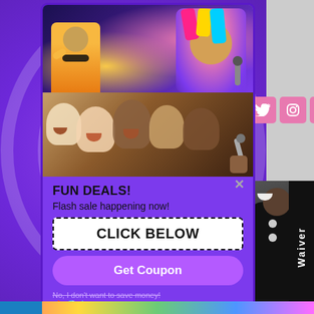[Figure (screenshot): Website screenshot showing a popup modal with karaoke/entertainment deal offer on a purple background, overlaid on a website with social media nav icons and a photo of a person in black shirt on the right side.]
FUN DEALS!
Flash sale happening now!
CLICK BELOW
Get Coupon
No, I don't want to save money!
Waiver